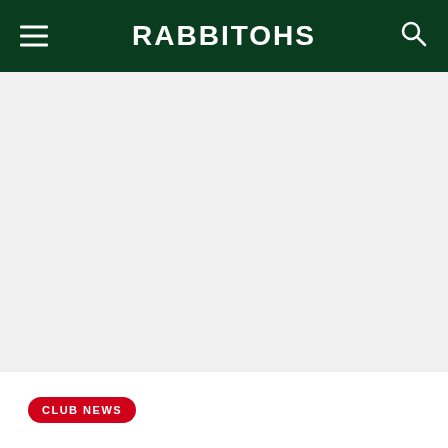RABBITOHS
[Figure (photo): Large image area placeholder, light grey background, no visible content]
CLUB NEWS